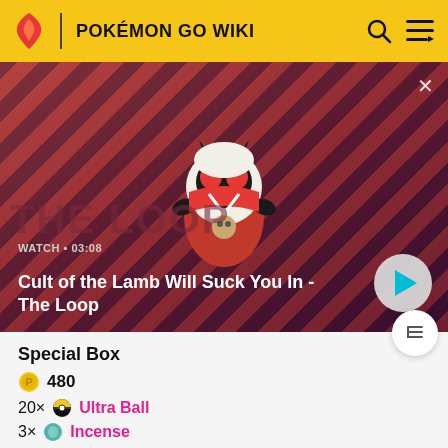POKÉMON GO WIKI
[Figure (screenshot): Video thumbnail showing Cult of the Lamb character on a red diagonal striped background with play button. Label reads WATCH • 03:08. Title: Cult of the Lamb Will Suck You In - The Loop]
Special Box
480
20× Ultra Ball
3× Incense
2× Super Incubator